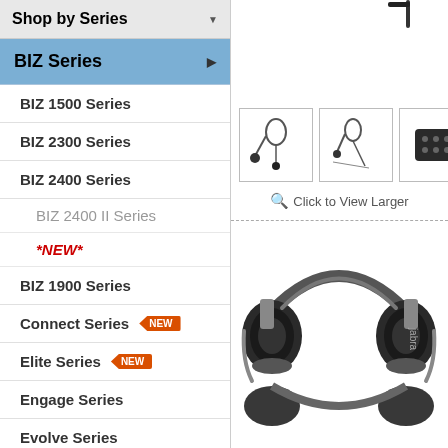Shop by Series
BIZ Series
BIZ 1500 Series
BIZ 2300 Series
BIZ 2400 Series
BIZ 2400 II Series
*NEW*
BIZ 1900 Series
Connect Series NEW
Elite Series NEW
Engage Series
Evolve Series
[Figure (photo): Jabra headset thumbnail images showing mono and boom microphone variants, plus a device controller]
Click to View Larger
[Figure (photo): Jabra on-ear headset with gray headband and black ear cups, shown from front angle]